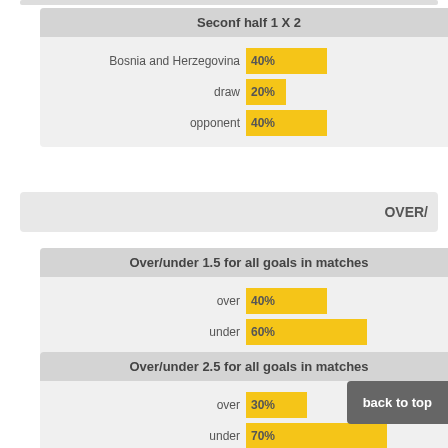[Figure (bar-chart): Seconf half 1 X 2]
OVER/
[Figure (bar-chart): Over/under 1.5 for all goals in matches]
[Figure (bar-chart): Over/under 2.5 for all goals in matches]
back to top